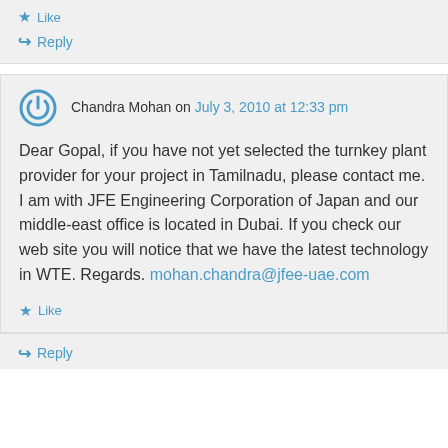Like
Reply
Chandra Mohan on July 3, 2010 at 12:33 pm
Dear Gopal, if you have not yet selected the turnkey plant provider for your project in Tamilnadu, please contact me. I am with JFE Engineering Corporation of Japan and our middle-east office is located in Dubai. If you check our web site you will notice that we have the latest technology in WTE. Regards. mohan.chandra@jfee-uae.com
Like
Reply